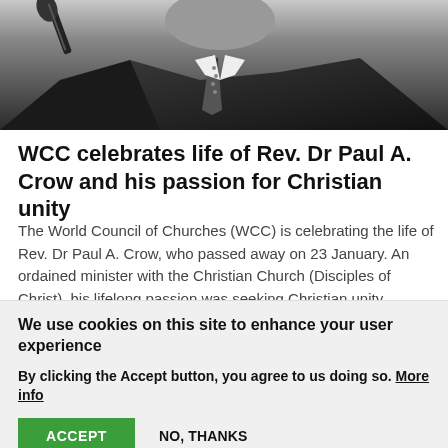[Figure (photo): Black and white photo of a man in a suit and tie near a microphone, cropped to show upper body]
WCC celebrates life of Rev. Dr Paul A. Crow and his passion for Christian unity
The World Council of Churches (WCC) is celebrating the life of Rev. Dr Paul A. Crow, who passed away on 23 January. An ordained minister with the Christian Church (Disciples of Christ), his lifelong passion was seeking Christian unity.
29 January 2021
We use cookies on this site to enhance your user experience
By clicking the Accept button, you agree to us doing so. More info